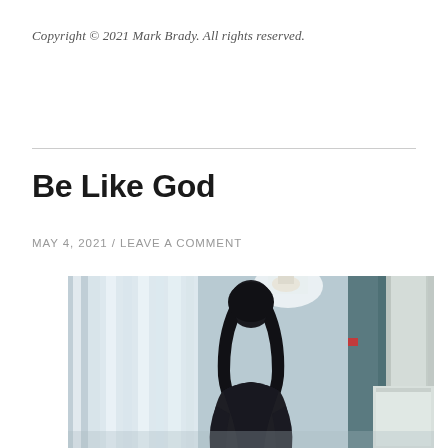Copyright © 2021 Mark Brady.  All rights reserved.
Be Like God
MAY 4, 2021  /  LEAVE A COMMENT
[Figure (photo): A person with long dark hair seen from behind, standing in a bright corridor or hallway with white curtains on the left, teal/grey walls, and a white architectural column on the right. The figure is wearing a dark jacket and is silhouetted against the bright background.]